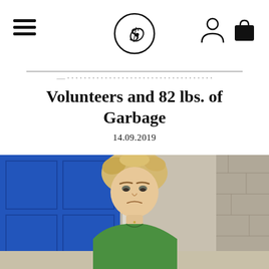Navigation header with hamburger menu, D logo, user and cart icons
Volunteers and 82 lbs. of Garbage
14.09.2019
[Figure (photo): A young blonde child wearing a green t-shirt, looking downward with a frowning expression, standing in front of a blue wooden door with stone wall visible on the right side.]